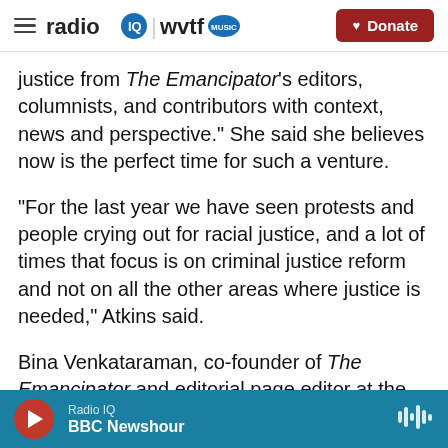radio IQ | wvtf MUSIC — Donate
justice from The Emancipator's editors, columnists, and contributors with context, news and perspective." She said she believes now is the perfect time for such a venture.
"For the last year we have seen protests and people crying out for racial justice, and a lot of times that focus is on criminal justice reform and not on all the other areas where justice is needed," Atkins said.
Bina Venkataraman, co-founder of The Emancipator and editorial page editor at the Boston
Radio IQ — BBC Newshour